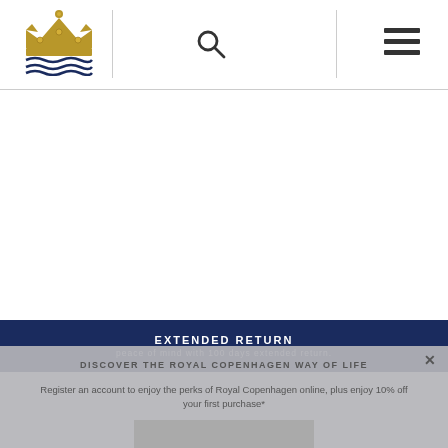[Figure (logo): Royal Copenhagen crown and waves logo in gold/navy]
[Figure (other): Search icon (magnifying glass)]
[Figure (other): Hamburger menu icon (three horizontal lines)]
EXTENDED RETURN
peace of mind with 100 days extended return.
DISCOVER THE ROYAL COPENHAGEN WAY OF LIFE
Register an account to enjoy the perks of Royal Copenhagen online, plus enjoy 10% off your first purchase*